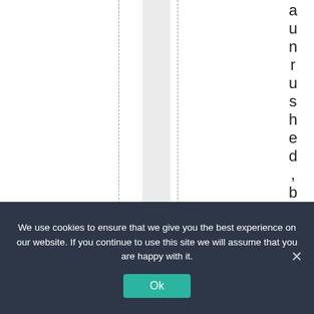[Figure (other): A mostly white page area with two dashed vertical lines and a gray shaded column between them, and vertical text along the right edge reading 'unrushed, beforeMa']
We use cookies to ensure that we give you the best experience on our website. If you continue to use this site we will assume that you are happy with it.